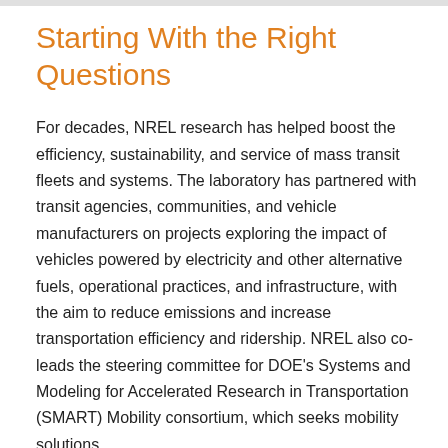Starting With the Right Questions
For decades, NREL research has helped boost the efficiency, sustainability, and service of mass transit fleets and systems. The laboratory has partnered with transit agencies, communities, and vehicle manufacturers on projects exploring the impact of vehicles powered by electricity and other alternative fuels, operational practices, and infrastructure, with the aim to reduce emissions and increase transportation efficiency and ridership. NREL also co-leads the steering committee for DOE's Systems and Modeling for Accelerated Research in Transportation (SMART) Mobility consortium, which seeks mobility solutions